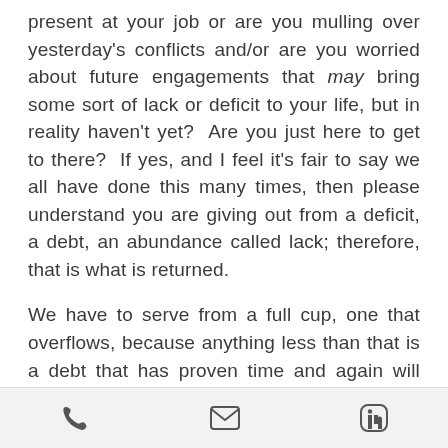present at your job or are you mulling over yesterday's conflicts and/or are you worried about future engagements that may bring some sort of lack or deficit to your life, but in reality haven't yet?  Are you just here to get to there?  If yes, and I feel it's fair to say we all have done this many times, then please understand you are giving out from a deficit, a debt, an abundance called lack; therefore, that is what is returned.

We have to serve from a full cup, one that overflows, because anything less than that is a debt that has proven time and again will eventually call upon us to pay with our health!  It's so difficult to know this and